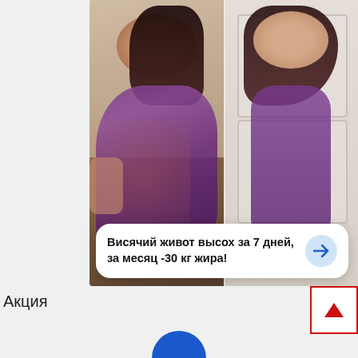[Figure (photo): Before and after weight loss comparison photo. Left: overweight woman in purple shirt shown from side. Right: slimmer woman in oversized purple shirt showing how large it now is. White card overlay at bottom reads 'Висячий живот высох за 7 дней, за месяц -30 кг жира!' with blue arrow button.]
Висячий живот высох за 7 дней, за месяц -30 кг жира!
Акция